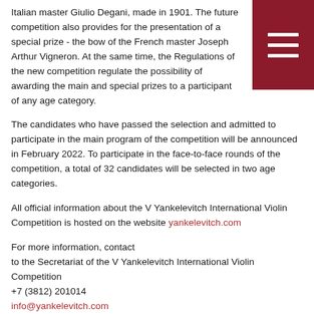Italian master Giulio Degani, made in 1901. The future competition also provides for the presentation of a special prize - the bow of the French master Joseph Arthur Vigneron. At the same time, the Regulations of the new competition regulate the possibility of awarding the main and special prizes to a participant of any age category.
The candidates who have passed the selection and admitted to participate in the main program of the competition will be announced in February 2022. To participate in the face-to-face rounds of the competition, a total of 32 candidates will be selected in two age categories.
All official information about the V Yankelevitch International Violin Competition is hosted on the website yankelevitch.com
For more information, contact to the Secretariat of the V Yankelevitch International Violin Competition
+7 (3812) 201014
info@yankelevitch.com